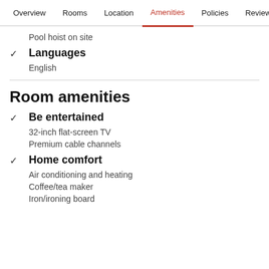Overview  Rooms  Location  Amenities  Policies  Reviews
Pool hoist on site
Languages
English
Room amenities
Be entertained
32-inch flat-screen TV
Premium cable channels
Home comfort
Air conditioning and heating
Coffee/tea maker
Iron/ironing board